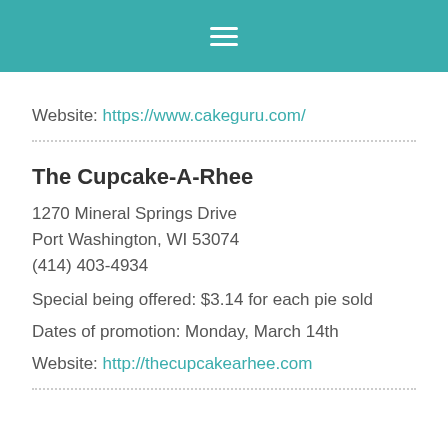hamburger menu icon
Website: https://www.cakeguru.com/
The Cupcake-A-Rhee
1270 Mineral Springs Drive
Port Washington, WI 53074
(414) 403-4934
Special being offered: $3.14 for each pie sold
Dates of promotion: Monday, March 14th
Website: http://thecupcakearhee.com